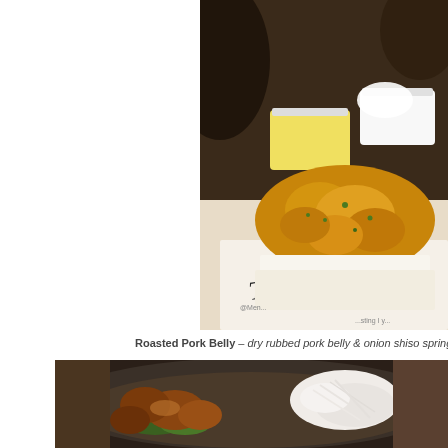[Figure (photo): Photo of fried corn fritters/tempura appetizer in a white box container with two white sauce bowls on a restaurant table. Text 'To Start' visible on menu/box.]
Roasted Pork Belly – dry rubbed pork belly & onion shiso spring
[Figure (photo): Close-up photo of a dark plate with fried meat pieces (pork belly or karaage) with greens and white sauce/onions, shot from above at a restaurant table.]